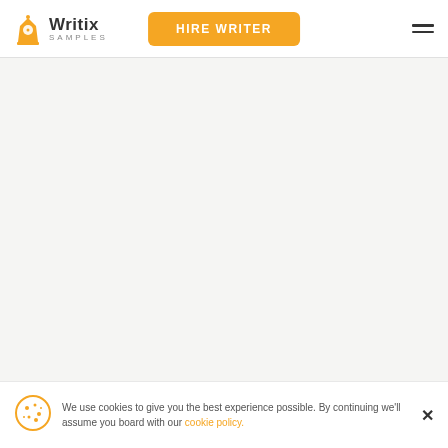Writix Samples | HIRE WRITER
We use cookies to give you the best experience possible. By continuing we'll assume you board with our cookie policy.